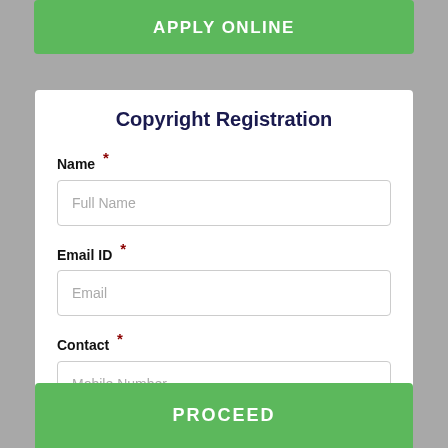APPLY ONLINE
Copyright Registration
Name *
Full Name
Email ID *
Email
Contact *
Mobile Number
PROCEED